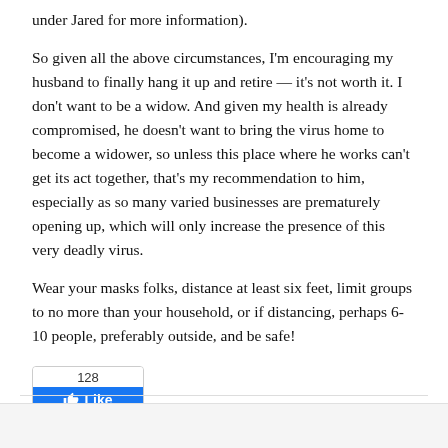under Jared for more information).
So given all the above circumstances, I'm encouraging my husband to finally hang it up and retire — it's not worth it. I don't want to be a widow. And given my health is already compromised, he doesn't want to bring the virus home to become a widower, so unless this place where he works can't get its act together, that's my recommendation to him, especially as so many varied businesses are prematurely opening up, which will only increase the presence of this very deadly virus.
Wear your masks folks, distance at least six feet, limit groups to no more than your household, or if distancing, perhaps 6-10 people, preferably outside, and be safe!
[Figure (other): Facebook Like button showing 128 likes]
[Figure (other): Social share bar with Facebook, Twitter, email, Pinterest, and more buttons, showing 6 shares]